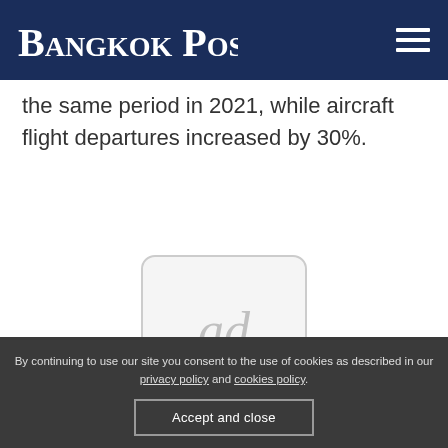Bangkok Post
the same period in 2021, while aircraft flight departures increased by 30%.
[Figure (other): Advertisement placeholder box with 'ad' text]
By continuing to use our site you consent to the use of cookies as described in our privacy policy and cookies policy.
Accept and close